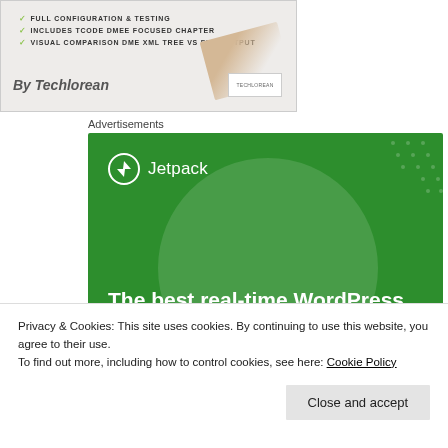[Figure (illustration): Book cover or promotional image with checkmarks listing features: FULL CONFIGURATION & TESTING, INCLUDES TCODE DMEE FOCUSED CHAPTER, VISUAL COMPARISON DME XML TREE VS FILE OUTPUT. Shows 'By Techlorean' text and a logo. A pencil or pen is visible in the background.]
Advertisements
[Figure (illustration): Jetpack advertisement banner with green background, large translucent circle, dot pattern. Jetpack logo (lightning bolt icon) and text reading 'The best real-time WordPress backup plugin']
Privacy & Cookies: This site uses cookies. By continuing to use this website, you agree to their use.
To find out more, including how to control cookies, see here: Cookie Policy
Close and accept